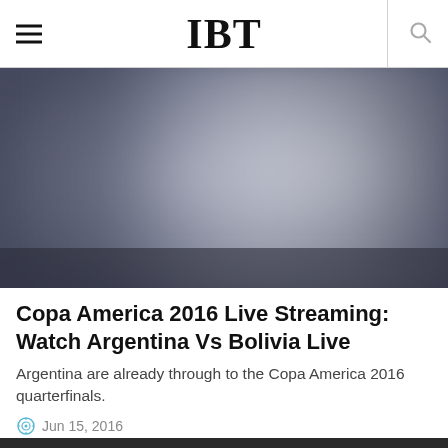IBT
[Figure (photo): Blurry abstract photo with dark blue-grey and light grey tones, blurred background image]
Copa America 2016 Live Streaming: Watch Argentina Vs Bolivia Live
Argentina are already through to the Copa America 2016 quarterfinals.
Jun 15, 2016